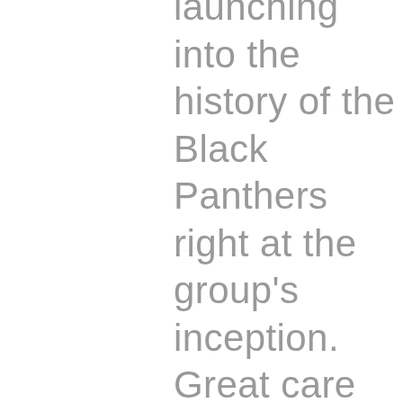launching into the history of the Black Panthers right at the group's inception. Great care has been taken to give detailed accounts of events, key members, and in-depth explanations